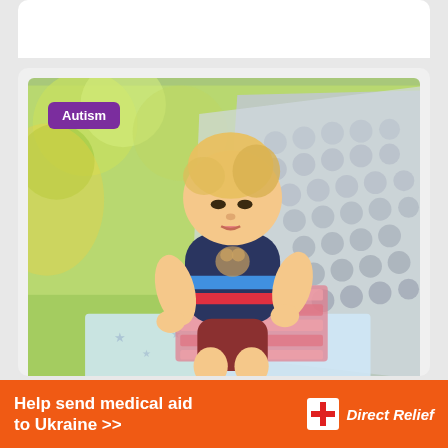[Figure (photo): Young blonde toddler boy sitting outdoors on a blanket, looking down at a tablet/book, with a silver bubble-wrap style tent behind him and green trees in the background. Purple 'Autism' tag label in top-left corner of image.]
Autism
[Figure (illustration): Orange Direct Relief advertisement banner: 'Help send medical aid to Ukraine >>' with Direct Relief logo (white box with red cross icon) on the right.]
Help send medical aid to Ukraine >>